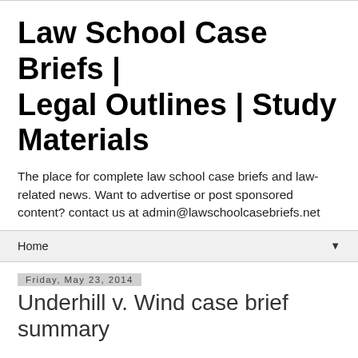Law School Case Briefs | Legal Outlines | Study Materials
The place for complete law school case briefs and law-related news. Want to advertise or post sponsored content? contact us at admin@lawschoolcasebriefs.net
Home ▼
Friday, May 23, 2014
Underhill v. Wind case brief summary
Underhill v. Wind
o  Negligence Per Se
§ If you violate a (constitutional) statute